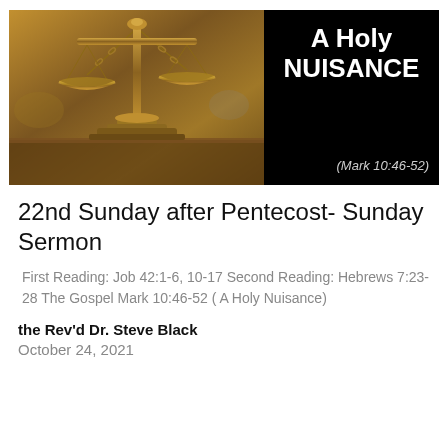[Figure (photo): Banner image split into two halves: left side shows a photo of brass scales of justice on a wooden surface (warm brown tones); right side is solid black with white bold text reading 'A Holy NUISANCE' and italic text '(Mark 10:46-52)' in the lower right.]
22nd Sunday after Pentecost- Sunday Sermon
First Reading: Job 42:1-6, 10-17 Second Reading: Hebrews 7:23-28 The Gospel Mark 10:46-52  ( A Holy Nuisance)
the Rev'd Dr. Steve Black
October 24, 2021